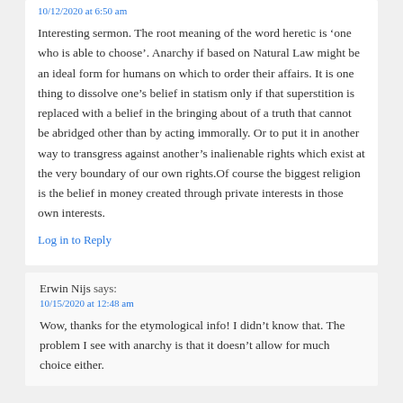10/12/2020 at 6:50 am
Interesting sermon. The root meaning of the word heretic is ‘one who is able to choose’. Anarchy if based on Natural Law might be an ideal form for humans on which to order their affairs. It is one thing to dissolve one’s belief in statism only if that superstition is replaced with a belief in the bringing about of a truth that cannot be abridged other than by acting immorally. Or to put it in another way to transgress against another’s inalienable rights which exist at the very boundary of our own rights.Of course the biggest religion is the belief in money created through private interests in those own interests.
Log in to Reply
Erwin Nijs says:
10/15/2020 at 12:48 am
Wow, thanks for the etymological info! I didn’t know that. The problem I see with anarchy is that it doesn’t allow for much choice either.